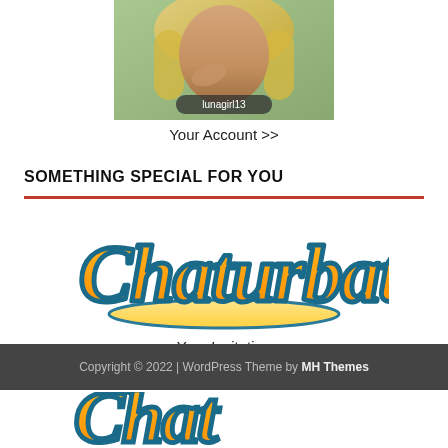[Figure (photo): Photo of a person with blonde hair, hand near mouth, with a username badge overlay reading 'lunagirl13']
Your Account >>
SOMETHING SPECIAL FOR YOU
[Figure (logo): Chaturbate logo in orange and teal script lettering with underline swash]
Your Invitation
Copyright © 2022 | WordPress Theme by MH Themes
[Figure (logo): Partial Chaturbate logo visible at bottom of page]